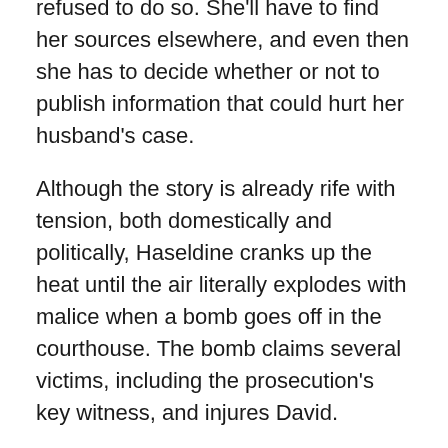refused to do so. She'll have to find her sources elsewhere, and even then she has to decide whether or not to publish information that could hurt her husband's case.
Although the story is already rife with tension, both domestically and politically, Haseldine cranks up the heat until the air literally explodes with malice when a bomb goes off in the courthouse. The bomb claims several victims, including the prosecution's key witness, and injures David.
Sure that Rossi is behind the attack, Julia teams up with Detective Raymond Navarro to construct a story of blackmail, payback and political ambition. But at what cost? Will she make it out the other side unscathed? And more importantly, will her family?